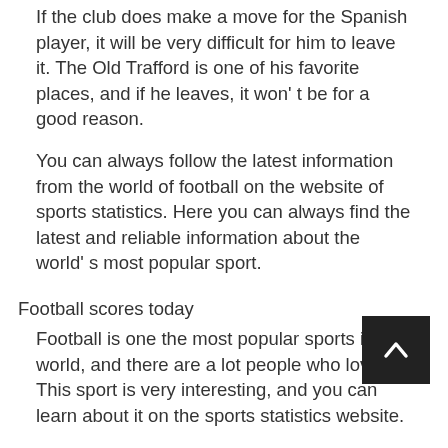If the club does make a move for the Spanish player, it will be very difficult for him to leave it. The Old Trafford is one of his favorite places, and if he leaves, it won't be for a good reason.
You can always follow the latest information from the world of football on the website of sports statistics. Here you can always find the latest and reliable information about the world's most popular sport.
Football scores today
Football is one the most popular sports in the world, and there are a lot people who love it. This sport is very interesting, and you can learn about it on the sports statistics website.
Today, football scores are available to everyone, and they are available on the Internet. You can always learn the latest football scores, as well as the results of matches of your favorite teams.
One of the most interesting parts of this sport is the fight for the gold medals of the championship. This fight is very